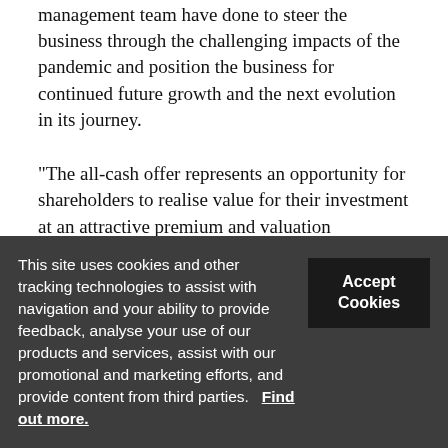management team have done to steer the business through the challenging impacts of the pandemic and position the business for continued future growth and the next evolution in its journey.
“The all-cash offer represents an opportunity for shareholders to realise value for their investment at an attractive premium and valuation multiple.”
Menzies initially rebuffed a surprise hostile attempt
This site uses cookies and other tracking technologies to assist with navigation and your ability to provide feedback, analyse your use of our products and services, assist with our promotional and marketing efforts, and provide content from third parties.  Find out more.